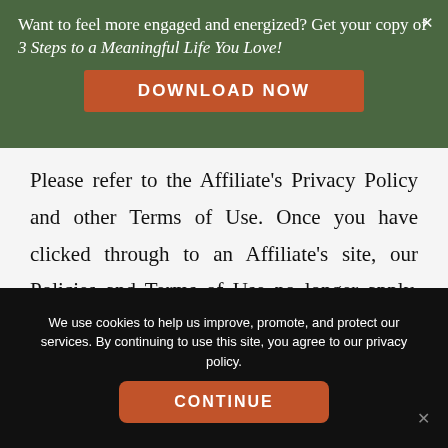Want to feel more engaged and energized? Get your copy of 3 Steps to a Meaningful Life You Love!
DOWNLOAD NOW
Please refer to the Affiliate's Privacy Policy and other Terms of Use. Once you have clicked through to an Affiliate's site, our Policies and Terms of Use no longer apply. We cannot guarantee or be held responsible for any information or products and services you may find on an Affiliate's site. The opinions
We use cookies to help us improve, promote, and protect our services. By continuing to use this site, you agree to our privacy policy.
CONTINUE